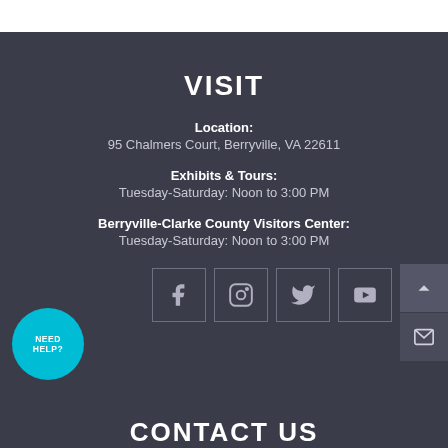VISIT
Location:
95 Chalmers Court, Berryville, VA 22611
Exhibits & Tours:
Tuesday-Saturday: Noon to 3:00 PM
Berryville-Clarke County Visitors Center:
Tuesday-Saturday: Noon to 3:00 PM
[Figure (infographic): Social media icons row: Facebook, Instagram, Twitter, YouTube in outlined square boxes. A teal 'NEED HELP?' circular button on the lower left. Two right-side buttons: up arrow and mail envelope.]
CONTACT US